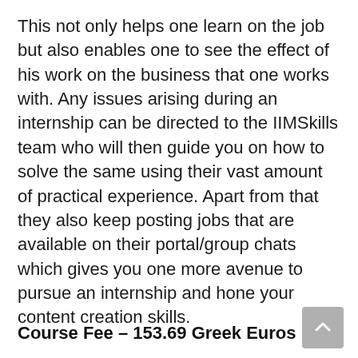This not only helps one learn on the job but also enables one to see the effect of his work on the business that one works with. Any issues arising during an internship can be directed to the IIMSkills team who will then guide you on how to solve the same using their vast amount of practical experience. Apart from that they also keep posting jobs that are available on their portal/group chats which gives you one more avenue to pursue an internship and hone your content creation skills.
Course Fee – 153.69 Greek Euros